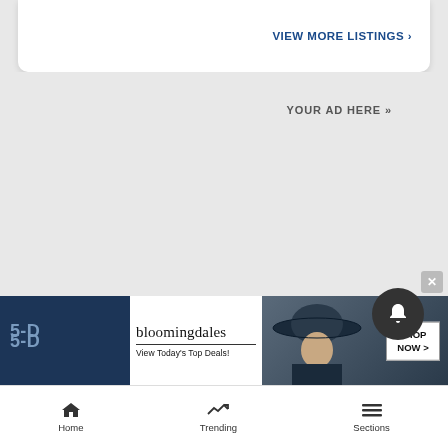VIEW MORE LISTINGS ›
YOUR AD HERE »
[Figure (screenshot): Bloomingdales advertisement banner showing logo, 'View Today's Top Deals!' text, woman in hat, and SHOP NOW > button]
5-D
Home   Trending   Sections